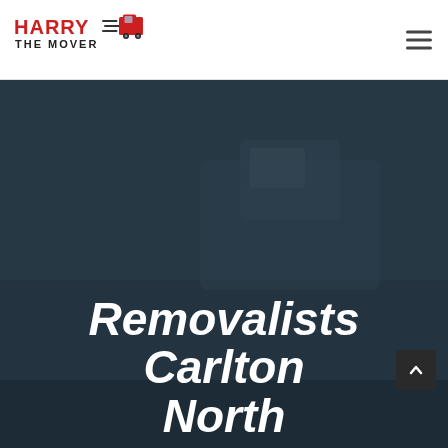Harry The Mover — navigation header with logo and hamburger menu
[Figure (logo): Harry The Mover logo: red text 'HARRY' with speed lines and a red delivery truck, subtitle 'THE MOVER' in dark text]
[Figure (photo): Dark hero background image showing a truck cab/vehicle in dark blue-grey tones with dark overlay]
Removalists Carlton North